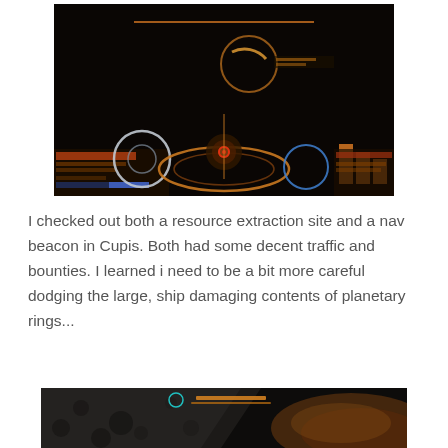[Figure (screenshot): Space game cockpit view showing a dark interior with orange HUD elements, circular radar display, glowing orange rings, and orange bar indicators on the right side. Blue circular shield indicator on the left and right side.]
I checked out both a resource extraction site and a nav beacon in Cupis. Both had some decent traffic and bounties. I learned i need to be a bit more careful dodging the large, ship damaging contents of planetary rings...
[Figure (screenshot): Space game view of planetary rings with dark rocky asteroid field on the left and a glowing orange-brown galaxy/nebula visible on the right side. A small cyan targeting circle and orange UI elements are visible in the upper portion.]